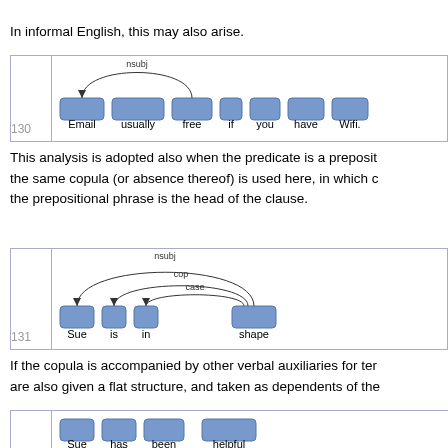In informal English, this may also arise.
[Figure (engineering-diagram): Dependency parse diagram 130: 'Email usually free if you have Wifi.' with nsubj arc from 'free' to 'Email']
This analysis is adopted also when the predicate is a preposition... the same copula (or absence thereof) is used here, in which c... the prepositional phrase is the head of the clause.
[Figure (engineering-diagram): Dependency parse diagram 131: 'Sue is in shape' with nsubj, cop, case arcs]
If the copula is accompanied by other verbal auxiliaries for te... are also given a flat structure, and taken as dependents of th...
[Figure (engineering-diagram): Dependency parse diagram 132: 'Sue has been helpful' with nsubj, aux, cop arcs]
The motivation for this choice is that this structure is parallel t... we give to auxiliary verbs accompanying verbs. In particular,